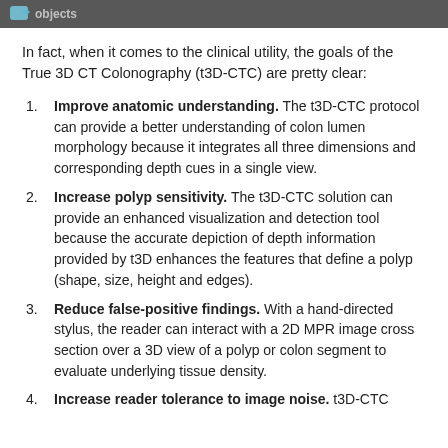healthful objects
In fact, when it comes to the clinical utility, the goals of the True 3D CT Colonography (t3D-CTC) are pretty clear:
Improve anatomic understanding. The t3D-CTC protocol can provide a better understanding of colon lumen morphology because it integrates all three dimensions and corresponding depth cues in a single view.
Increase polyp sensitivity. The t3D-CTC solution can provide an enhanced visualization and detection tool because the accurate depiction of depth information provided by t3D enhances the features that define a polyp (shape, size, height and edges).
Reduce false-positive findings. With a hand-directed stylus, the reader can interact with a 2D MPR image cross section over a 3D view of a polyp or colon segment to evaluate underlying tissue density.
Increase reader tolerance to image noise. t3D-CTC